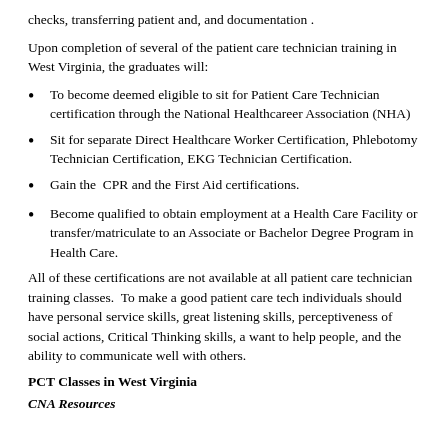checks, transferring patient and, and documentation .
Upon completion of several of the patient care technician training in West Virginia, the graduates will:
To become deemed eligible to sit for Patient Care Technician certification through the National Healthcareer Association (NHA)
Sit for separate Direct Healthcare Worker Certification, Phlebotomy Technician Certification, EKG Technician Certification.
Gain the  CPR and the First Aid certifications.
Become qualified to obtain employment at a Health Care Facility or transfer/matriculate to an Associate or Bachelor Degree Program in Health Care.
All of these certifications are not available at all patient care technician training classes.  To make a good patient care tech individuals should have personal service skills, great listening skills, perceptiveness of social actions, Critical Thinking skills, a want to help people, and the ability to communicate well with others.
PCT Classes in West Virginia
CNA Resources